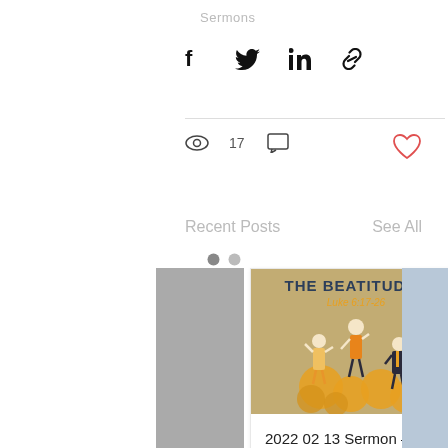Sermons
[Figure (infographic): Social share icons: Facebook, Twitter, LinkedIn, Link]
[Figure (infographic): Stats row: eye icon with 17 views, comment icon, heart icon]
Recent Posts
See All
[Figure (photo): The Beatitudes Luke 6:17-26 illustration with people celebrating on gold coins]
2022 02 13 Sermon - Rev. Abe Zimmerman